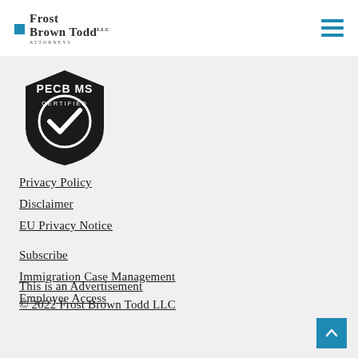[Figure (logo): Frost Brown Todd LLC Attorneys logo with blue square icon]
[Figure (illustration): PECB MS Certified badge - dark shield with checkmark]
Privacy Policy
Disclaimer
EU Privacy Notice
Subscribe
Immigration Case Management
Employee Access
This is an Advertisement
© 2022 Frost Brown Todd LLC